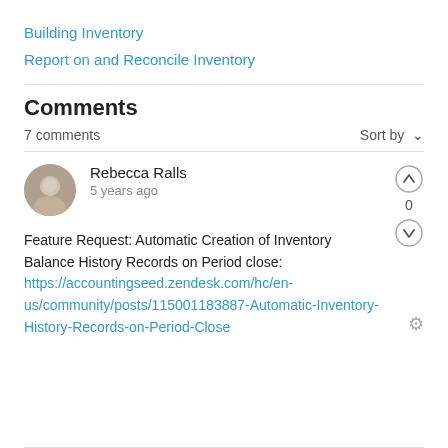Building Inventory
Report on and Reconcile Inventory
Comments
7 comments
Sort by
Rebecca Ralls
5 years ago
Feature Request: Automatic Creation of Inventory Balance History Records on Period close: https://accountingseed.zendesk.com/hc/en-us/community/posts/115001183887-Automatic-Inventory-History-Records-on-Period-Close